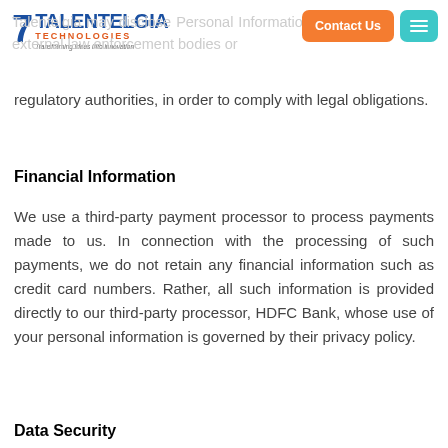Talentelgia Technologies — Transforming ideas into innovation
Talentelgia may disclose Personal Information to external law enforcement bodies or regulatory authorities, in order to comply with legal obligations.
Financial Information
We use a third-party payment processor to process payments made to us. In connection with the processing of such payments, we do not retain any financial information such as credit card numbers. Rather, all such information is provided directly to our third-party processor, HDFC Bank, whose use of your personal information is governed by their privacy policy.
Data Security